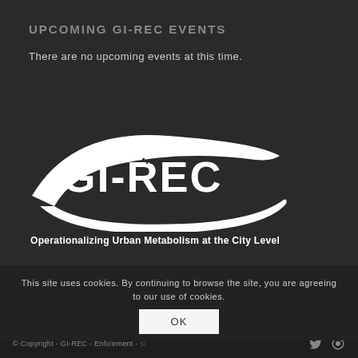UPCOMING GI-REC EVENTS
There are no upcoming events at this time.
[Figure (logo): GI-REC logo: white swoosh/crescent shape with 'GI-REC' text in bold white letters, building/city imagery integrated into the letters]
Operationalizing Urban Metabolism at the City Level
This site uses cookies. By continuing to browse the site, you are agreeing to our use of cookies.
© Copyright - GI-REC - Enfolement - si